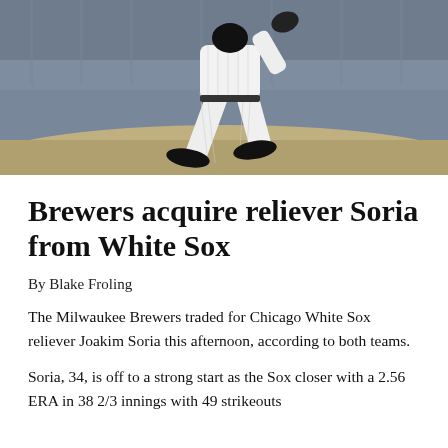[Figure (photo): Baseball pitcher in white pinstripe uniform mid-delivery on the pitcher's mound at night, viewed from behind/side angle showing legs and lower body in motion.]
Brewers acquire reliever Soria from White Sox
By Blake Froling
The Milwaukee Brewers traded for Chicago White Sox reliever Joakim Soria this afternoon, according to both teams.
Soria, 34, is off to a strong start as the Sox closer with a 2.56 ERA in 38 2/3 innings with 49 strikeouts